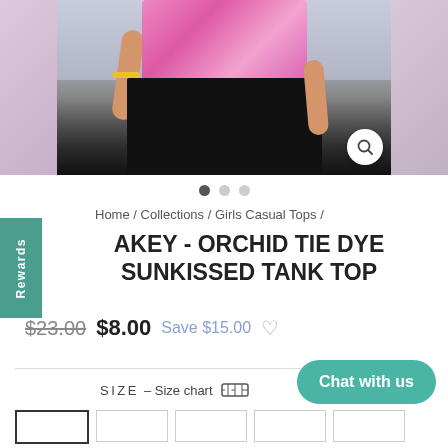[Figure (photo): E-commerce product page screenshot showing a girl wearing a pink tie-dye top and black shorts, image carousel with three slides, two side panels in lavender/purple tones]
Home / Collections / Girls Casual Tops /
AKEY - ORCHID TIE DYE SUNKISSED TANK TOP
$23.00  $8.00  Save $15.00
SIZE – Size chart
Chat with us